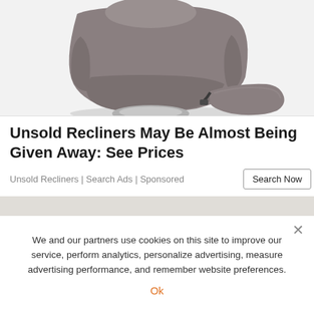[Figure (photo): Gray upholstered recliner chair with footrest extended, photographed on white background from a slightly elevated angle]
Unsold Recliners May Be Almost Being Given Away: See Prices
Unsold Recliners | Search Ads | Sponsored
We and our partners use cookies on this site to improve our service, perform analytics, personalize advertising, measure advertising performance, and remember website preferences.
Ok